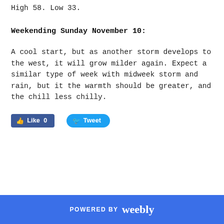High 58. Low 33.
Weekending Sunday November 10:
A cool start, but as another storm develops to the west, it will grow milder again. Expect a similar type of week with midweek storm and rain, but it the warmth should be greater, and the chill less chilly.
[Figure (other): Facebook Like button (0 likes) and Twitter Tweet button]
POWERED BY weebly